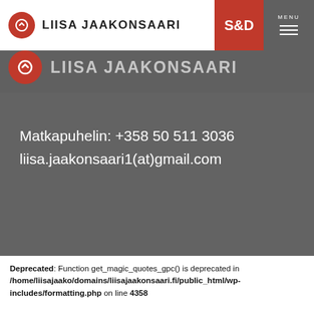LIISA JAAKONSAARI | S&D | MENU
LIISA JAAKONSAARI
Matkapuhelin: +358 50 511 3036
liisa.jaakonsaari1(at)gmail.com
Deprecated: Function get_magic_quotes_gpc() is deprecated in /home/liisajaako/domains/liisajaakonsaari.fi/public_html/wp-includes/formatting.php on line 4358